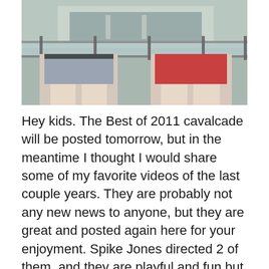[Figure (photo): Two people from behind wearing short shorts (one gray/blue, one red) leaning on a glass railing with a highway visible in the background.]
Hey kids. The Best of 2011 cavalcade will be posted tomorrow, but in the meantime I thought I would share some of my favorite videos of the last couple years. They are probably not any new news to anyone, but they are great and posted again here for your enjoyment. Spike Jones directed 2 of them, and they are playful and fun but, the best by far and actually my favorite music video of all time is “Bombay” by El Guincho. It is absolutely staggaring in how well made and how successfully ambitious it is. I hardly noticed the first time I watched it because it's tone